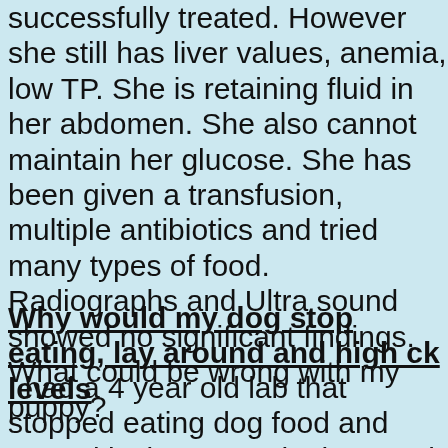successfully treated. However she still has liver values, anemia, low TP. She is retaining fluid in her abdomen. She also cannot maintain her glucose. She has been given a transfusion, multiple antibiotics and tried many types of food. Radiographs and Ultra sound showed no significant findings. What could be wrong with my puppy?
Why would my dog stop eating, lay around and high ck levels
I had a 4 year old lab that stopped eating dog food and started laying around a lot. I took him to the vet and he was treated and tested. No Lyme, but his CK level was over 5000. The vet kept him and gave fluids but nothing improved him. Now I have another one acting...